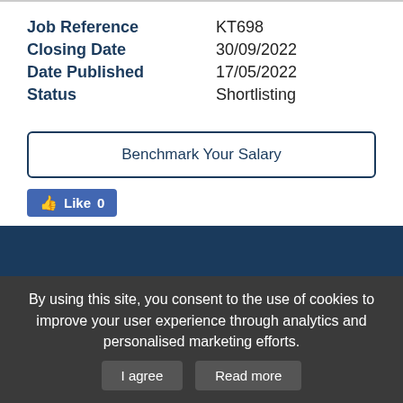| Field | Value |
| --- | --- |
| Job Reference | KT698 |
| Closing Date | 30/09/2022 |
| Date Published | 17/05/2022 |
| Status | Shortlisting |
Benchmark Your Salary
[Figure (screenshot): Facebook Like button with count 0]
[Figure (screenshot): APPLY NOW button in red/orange on dark blue background]
Salary calculator
By using this site, you consent to the use of cookies to improve your user experience through analytics and personalised marketing efforts.
I agree
Read more